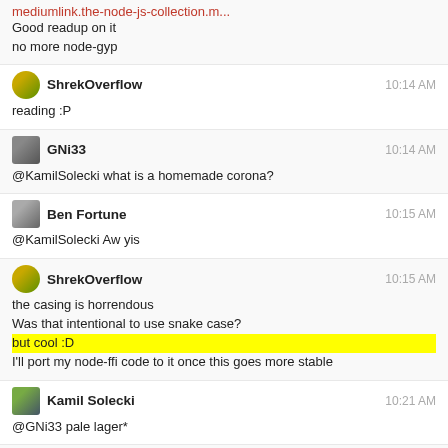Good readup on it
no more node-gyp
ShrekOverflow 10:14 AM
reading :P
GNi33 10:14 AM
@KamilSolecki what is a homemade corona?
Ben Fortune 10:15 AM
@KamilSolecki Aw yis
ShrekOverflow 10:15 AM
the casing is horrendous
Was that intentional to use snake case?
but cool :D
I'll port my node-ffi code to it once this goes more stable
Kamil Solecki 10:21 AM
@GNi33 pale lager*
GNi33 10:21 AM
ah :)
Kamil Solecki 10:29 AM
Im recently very Indecisive when it comes to proper structuring in ts
One part of me wants to make a 'pseudo-orm' model Based manipulation, other part of